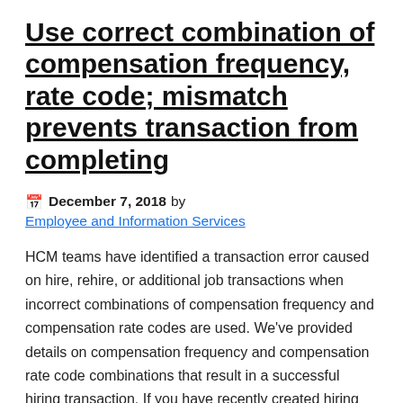Use correct combination of compensation frequency, rate code; mismatch prevents transaction from completing
December 7, 2018 by Employee and Information Services
HCM teams have identified a transaction error caused on hire, rehire, or additional job transactions when incorrect combinations of compensation frequency and compensation rate codes are used. We've provided details on compensation frequency and compensation rate code combinations that result in a successful hiring transaction. If you have recently created hiring transactions, here's how to identify if you need to